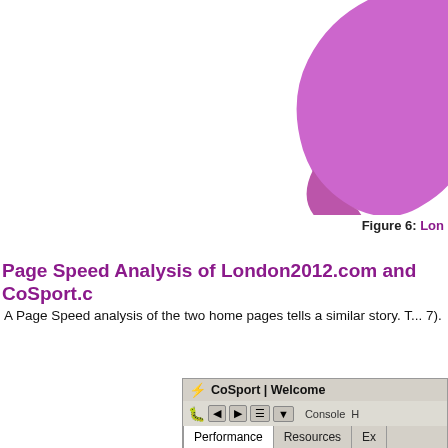[Figure (pie-chart): Partial pie chart visible in upper right corner, showing multiple colored slices including pink/magenta, purple/blue, and dark red/maroon segments]
Figure 6: Lon...
Page Speed Analysis of London2012.com and CoSport.c...
A Page Speed analysis of the two home pages tells a similar story. T... 7).
[Figure (screenshot): Screenshot of CoSport website in browser developer tools showing Page Speed Score: 80/100 with items: Combine external JavaScript, Leverage browser caching, Minify CSS, Minify JavaScript]